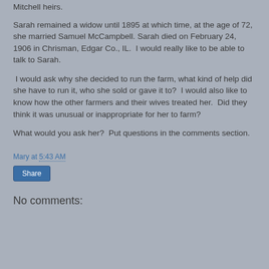Mitchell heirs.
Sarah remained a widow until 1895 at which time, at the age of 72, she married Samuel McCampbell. Sarah died on February 24, 1906 in Chrisman, Edgar Co., IL.  I would really like to be able to talk to Sarah.
I would ask why she decided to run the farm, what kind of help did she have to run it, who she sold or gave it to?  I would also like to know how the other farmers and their wives treated her.  Did they think it was unusual or inappropriate for her to farm?
What would you ask her?  Put questions in the comments section.
Mary at 5:43 AM
Share
No comments: